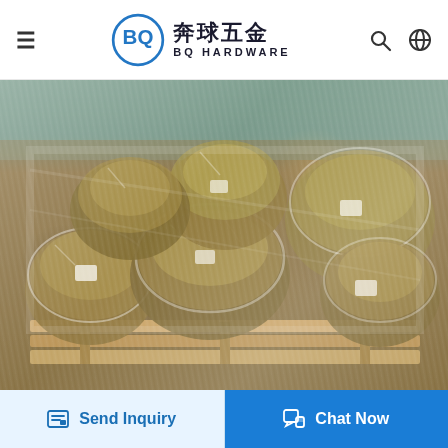BQ Hardware (奔球五金) website header with hamburger menu, logo, search and language icons
[Figure (photo): Multiple large industrial bowl/flange-shaped metal parts wrapped in clear plastic bags, stacked on a wooden pallet in a warehouse setting]
Send Inquiry
Chat Now